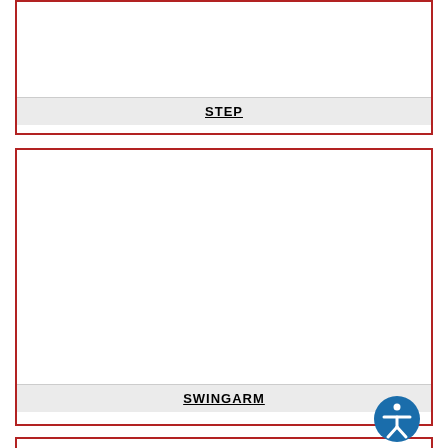[Figure (schematic): Card showing STEP component diagram (top portion cut off at page top)]
STEP
[Figure (schematic): Card showing SWINGARM component diagram, large empty white drawing area]
SWINGARM
[Figure (schematic): Card showing third component diagram (partially visible at bottom of page), with accessibility icon overlay in bottom-right corner]